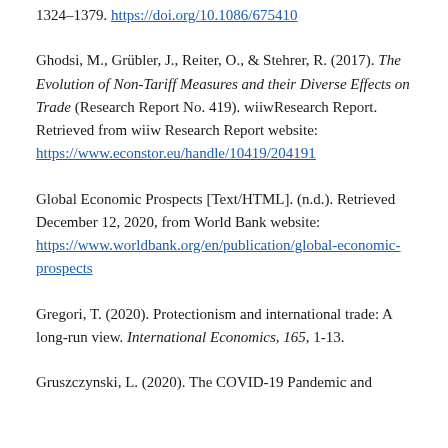1324–1379. https://doi.org/10.1086/675410
Ghodsi, M., Grübler, J., Reiter, O., & Stehrer, R. (2017). The Evolution of Non-Tariff Measures and their Diverse Effects on Trade (Research Report No. 419). wiiwResearch Report. Retrieved from wiiw Research Report website: https://www.econstor.eu/handle/10419/204191
Global Economic Prospects [Text/HTML]. (n.d.). Retrieved December 12, 2020, from World Bank website: https://www.worldbank.org/en/publication/global-economic-prospects
Gregori, T. (2020). Protectionism and international trade: A long-run view. International Economics, 165, 1-13.
Gruszczynski, L. (2020). The COVID-19 Pandemic and